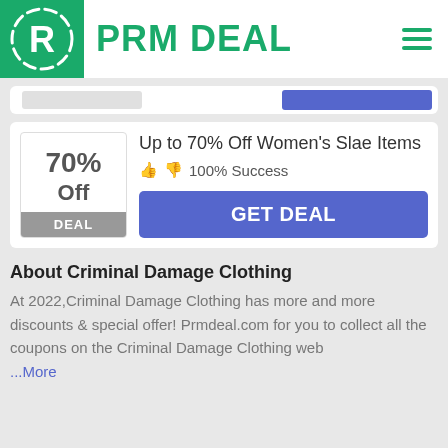PRM DEAL
[Figure (logo): PRM DEAL logo with green background and R icon]
70% Off — Up to 70% Off Women's Slae Items — 100% Success — GET DEAL
About Criminal Damage Clothing
At 2022,Criminal Damage Clothing has more and more discounts & special offer! Prmdeal.com for you to collect all the coupons on the Criminal Damage Clothing web
...More